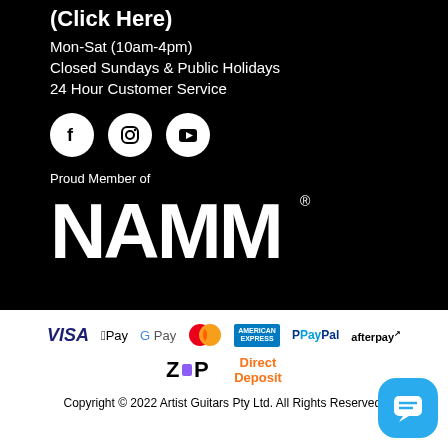(Click Here)
Mon-Sat (10am-4pm)
Closed Sundays & Public Holidays
24 Hour Customer Service
[Figure (logo): Social media icons: Facebook, Instagram, YouTube]
Proud Member of
[Figure (logo): NAMM logo - Proud Member of NAMM registered trademark]
[Figure (logo): Payment method logos: Visa, Apple Pay, Google Pay, Mastercard, American Express, PayPal, Afterpay, Zip, Direct Deposit]
Copyright © 2022 Artist Guitars Pty Ltd. All Rights Reserved.